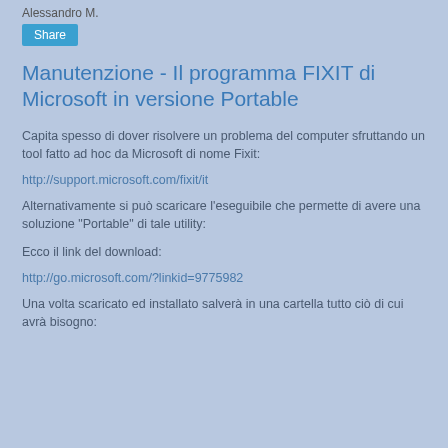Alessandro M.
Share
Manutenzione - Il programma FIXIT di Microsoft in versione Portable
Capita spesso di dover risolvere un problema del computer sfruttando un tool fatto ad hoc da Microsoft di nome Fixit:
http://support.microsoft.com/fixit/it
Alternativamente si può scaricare l'eseguibile che permette di avere una soluzione "Portable" di tale utility:
Ecco il link del download:
http://go.microsoft.com/?linkid=9775982
Una volta scaricato ed installato salverà in una cartella tutto ciò di cui avrà bisogno: